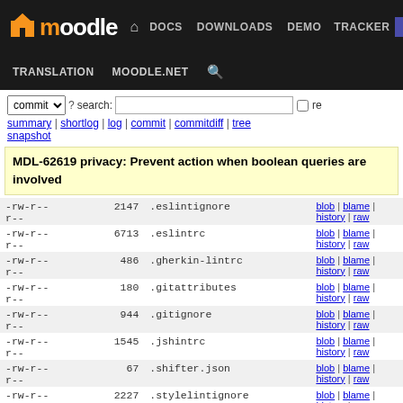Moodle | DOCS | DOWNLOADS | DEMO | TRACKER | DEV | TRANSLATION | MOODLE.NET
commit ▼ ? search: [ ] re
summary | shortlog | log | commit | commitdiff | tree
snapshot
MDL-62619 privacy: Prevent action when boolean queries are involved
| permissions | size | filename | links |
| --- | --- | --- | --- |
| -rw-r--r-- | 2147 | .eslintignore | blob | blame | history | raw |
| -rw-r--r-- | 6713 | .eslintrc | blob | blame | history | raw |
| -rw-r--r-- | 486 | .gherkin-lintrc | blob | blame | history | raw |
| -rw-r--r-- | 180 | .gitattributes | blob | blame | history | raw |
| -rw-r--r-- | 944 | .gitignore | blob | blame | history | raw |
| -rw-r--r-- | 1545 | .jshintrc | blob | blame | history | raw |
| -rw-r--r-- | 67 | .shifter.json | blob | blame | history | raw |
| -rw-r--r-- | 2227 | .stylelintignore | blob | blame | history | raw |